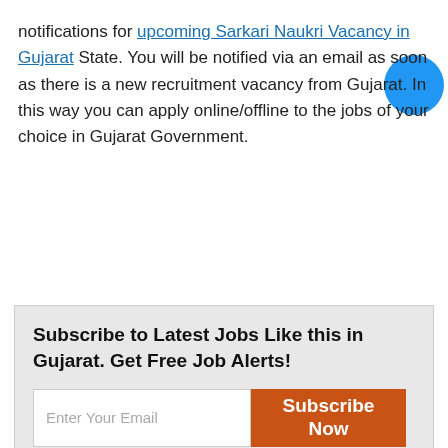notifications for upcoming Sarkari Naukri Vacancy in Gujarat State. You will be notified via an email as soon as there is a new recruitment vacancy from Gujarat. In this way you can apply online/offline to the jobs of your choice in Gujarat Government.
Subscribe to Latest Jobs Like this in Gujarat. Get Free Job Alerts!
[Email input] [Subscribe Now button]
GUJARAT EMPLOYMENT NEWS SITE FOR GOVERNMENT JOBS IN GUJARAT
Get latest job recruitment notifications from various Gujarat Government Departments. Find employment News updates for current Sarkari Naukri Vacancies in...